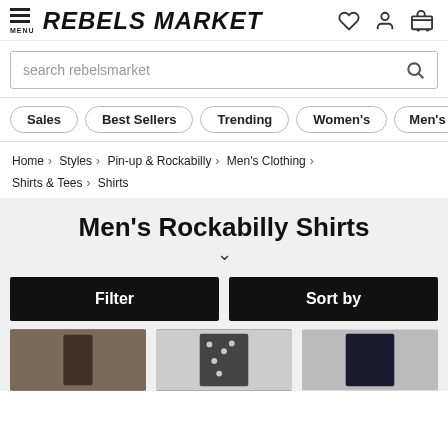REBELS MARKET — Menu, Logo, Heart, User, Cart icons
search rebelsmarket
Sales
Best Sellers
Trending
Women's
Men's
Home > Styles > Pin-up & Rockabilly > Men's Clothing > Shirts & Tees > Shirts
Men's Rockabilly Shirts
Filter
Sort by
[Figure (photo): Three product thumbnails of men's rockabilly shirts partially visible at bottom]